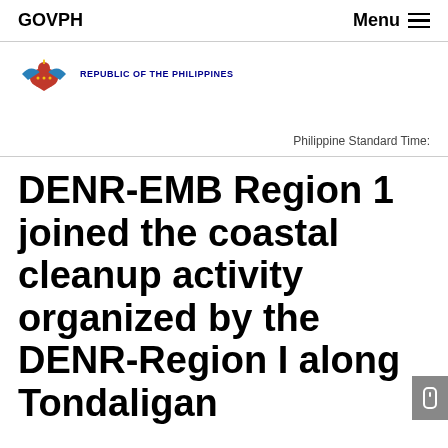GOVPH   Menu
[Figure (logo): Republic of the Philippines government logo with eagle emblem and blue text reading REPUBLIC OF THE PHILIPPINES]
Philippine Standard Time:
DENR-EMB Region 1 joined the coastal cleanup activity organized by the DENR-Region I along Tondaligan